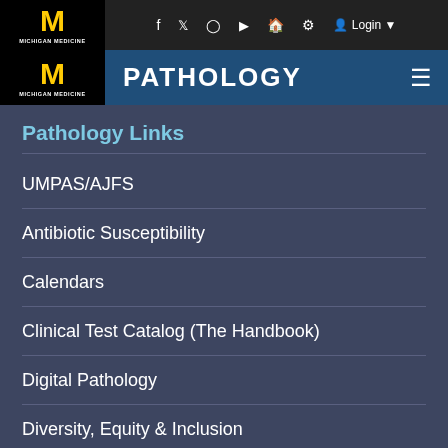[Figure (logo): University of Michigan Medicine logo with yellow M block letter on black background]
PATHOLOGY
Pathology Links
UMPAS/AJFS
Antibiotic Susceptibility
Calendars
Clinical Test Catalog (The Handbook)
Digital Pathology
Diversity, Equity & Inclusion
Health & Safety Manual